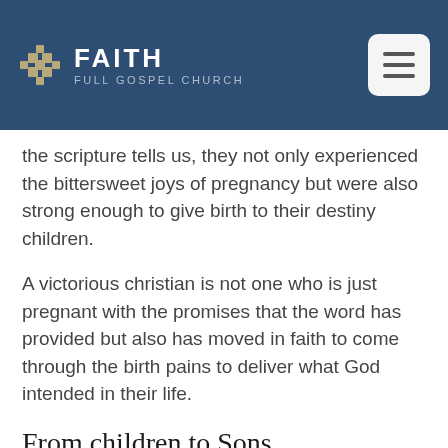FAITH FULL GOSPEL CHURCH
the scripture tells us, they not only experienced the bittersweet joys of pregnancy but were also strong enough to give birth to their destiny children.
A victorious christian is not one who is just pregnant with the promises that the word has provided but also has moved in faith to come through the birth pains to deliver what God intended in their life.
From children to Sons
There is an expectation of